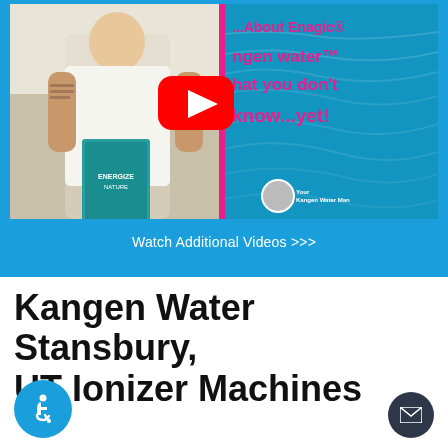[Figure (screenshot): YouTube video thumbnail showing a man holding a book on the left side and text '...About Enagic® Kangen water™ What you don't know...yet!' in pink on a water background on the right, with a YouTube play button overlay. Below is a blue bar with 'Watch Additional Videos >>>' in white text.]
Kangen Water Stansbury, UT Ionizer Machines